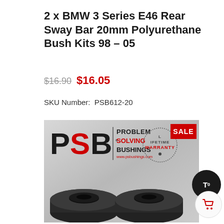2 x BMW 3 Series E46 Rear Sway Bar 20mm Polyurethane Bush Kits 98 – 05
$16.90  $16.05
SKU Number:  PSB612-20
[Figure (photo): Product photo showing PSB (Problem Solving Bushings) branded packaging with two black polyurethane bush kits on a gray background. Logo shows PSB in large letters with red S, alongside text PROBLEM SOLVING BUSHINGS and www.psbushings.com. A SALE badge in red is in the top right corner, with a lifetime warranty stamp partially visible. Two black sway bar bushings are shown at the bottom.]